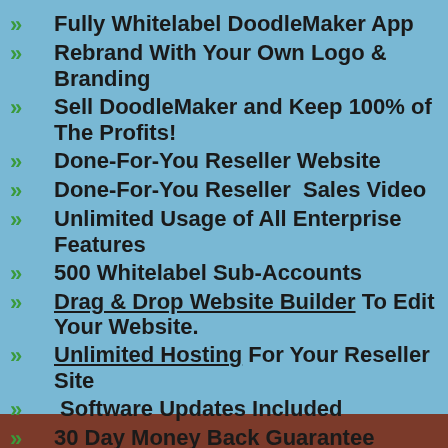Fully Whitelabel DoodleMaker App
Rebrand With Your Own Logo & Branding
Sell DoodleMaker and Keep 100% of The Profits!
Done-For-You Reseller Website
Done-For-You Reseller  Sales Video
Unlimited Usage of All Enterprise Features
500 Whitelabel Sub-Accounts
Drag & Drop Website Builder To Edit Your Website.
Unlimited Hosting For Your Reseller Site
Software Updates Included
30 Day Money Back Guarantee